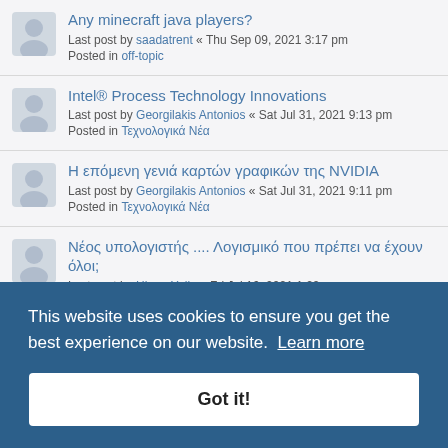Any minecraft java players? Last post by saadatrent « Thu Sep 09, 2021 3:17 pm Posted in off-topic
Intel® Process Technology Innovations Last post by Georgilakis Antonios « Sat Jul 31, 2021 9:13 pm Posted in Τεχνολογικά Νέα
Η επόμενη γενιά καρτών γραφικών της NVIDIA Last post by Georgilakis Antonios « Sat Jul 31, 2021 9:11 pm Posted in Τεχνολογικά Νέα
Νέος υπολογιστής .... Λογισμικό που πρέπει να έχουν όλοι; Last post by HiroyuYulin « Fri Jul 16, 2021 1:22 pm Posted in Software
ΠΩΛΗΣΗ ΠΑΝΕΠΙΣΤΗΜΙΑΚΩΝ ΒΙΒΛΙΩΝ (partial, behind banner)
Λειτουργικά Συστήματα Last post by chrispapageorge « Tue Mar 23, 2021 12:28 am
This website uses cookies to ensure you get the best experience on our website. Learn more
Got it!